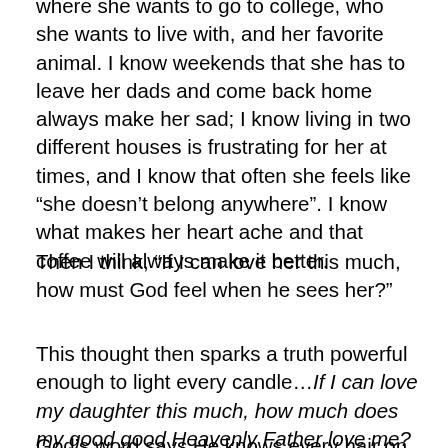where she wants to go to college, who she wants to live with, and her favorite animal. I know weekends that she has to leave her dads and come back home always make her sad; I know living in two different houses is frustrating for her at times, and I know that often she feels like “she doesn't belong anywhere”. I know what makes her heart ache and that coffee will always make it better.
Then I think, “If I can love her this much, how must God feel when he sees her?”
This thought then sparks a truth powerful enough to light every candle…If I can love my daughter this much, how much does my good good Heavenly Father love me? And as much as I yearn to be her provider and protector, how much more does my Heavenly Father desire to be mine?
God’s word says He knows every hair on our head, and